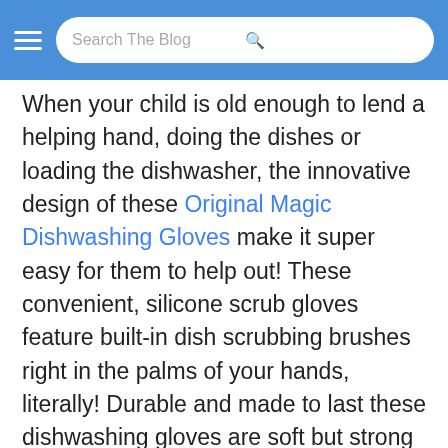Search The Blog
When your child is old enough to lend a helping hand, doing the dishes or loading the dishwasher, the innovative design of these Original Magic Dishwashing Gloves make it super easy for them to help out! These convenient, silicone scrub gloves feature built-in dish scrubbing brushes right in the palms of your hands, literally! Durable and made to last these dishwashing gloves are soft but strong and highly flexible. Currently 50% OFF with Free Shipping. They're perfect for use in the kitchen, but if your child is old enough for added responsibilities, they can also be used to clean the carpet, the bathroom, the car and even your pets! High-quality and environmentally friendly these dishwashing